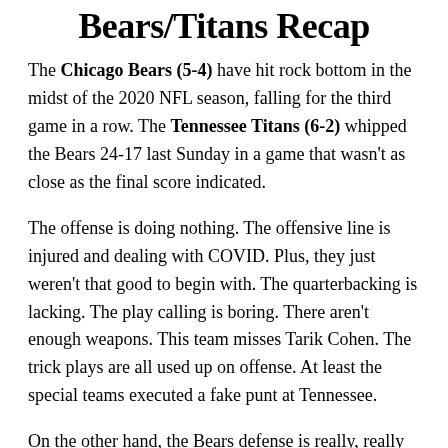Bears/Titans Recap
The Chicago Bears (5-4) have hit rock bottom in the midst of the 2020 NFL season, falling for the third game in a row. The Tennessee Titans (6-2) whipped the Bears 24-17 last Sunday in a game that wasn't as close as the final score indicated.
The offense is doing nothing. The offensive line is injured and dealing with COVID. Plus, they just weren't that good to begin with. The quarterbacking is lacking. The play calling is boring. There aren't enough weapons. This team misses Tarik Cohen. The trick plays are all used up on offense. At least the special teams executed a fake punt at Tennessee.
On the other hand, the Bears defense is really, really